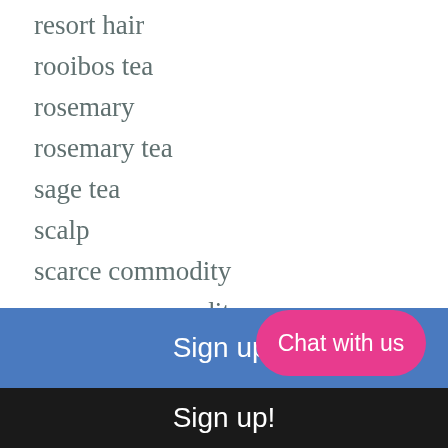resort hair
rooibos tea
rosemary
rosemary tea
sage tea
scalp
scarce commodity
scarece commodity
sew in
shea moisture
Sign up!
Chat with us
Sign up!